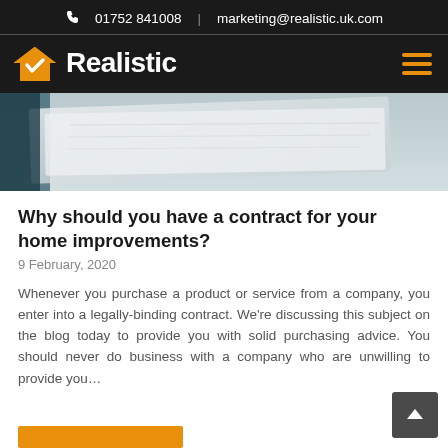01752 841008  |  marketing@realistic.uk.com
[Figure (logo): Realistic home improvements logo with orange house checkmark icon and white bold text 'Realistic' on dark background, with hamburger menu icon on right]
[Figure (photo): Partial view of a document or paper on a surface, blurred/out-of-focus background, light tones]
Why should you have a contract for your home improvements?
9 February, 2020
Whenever you purchase a product or service from a company, you enter into a legally-binding contract. We're discussing this subject on the blog today to provide you with solid purchasing advice. You should never do business with a company who are unwilling to provide you…